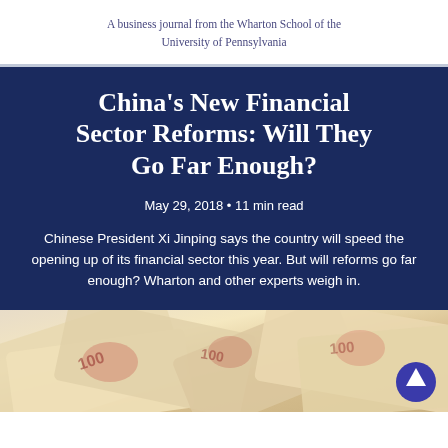A business journal from the Wharton School of the University of Pennsylvania
China's New Financial Sector Reforms: Will They Go Far Enough?
May 29, 2018 • 11 min read
Chinese President Xi Jinping says the country will speed the opening up of its financial sector this year. But will reforms go far enough? Wharton and other experts weigh in.
[Figure (photo): Chinese Renminbi (yuan) banknotes scattered, showing the 100 denomination notes with a scroll-to-top button overlay]